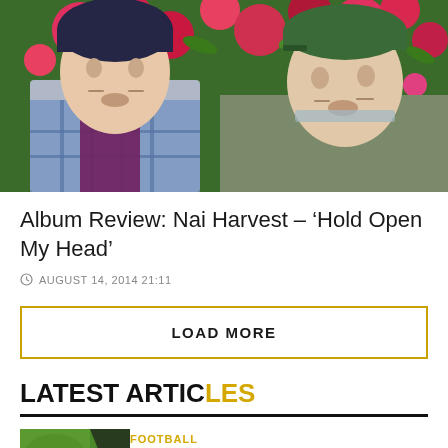[Figure (photo): Two young men standing in front of a colorful floral background. Left person wears a blue plaid shirt over a purple top and a dark beanie hat. Right person wears an olive/army green sweatshirt and a green cap. The background is covered in bright painted or printed flowers in pink, red, and green.]
Album Review: Nai Harvest – 'Hold Open My Head'
AUGUST 14, 2014 21:11
LOAD MORE
LATEST ARTICLES
FOOTBALL